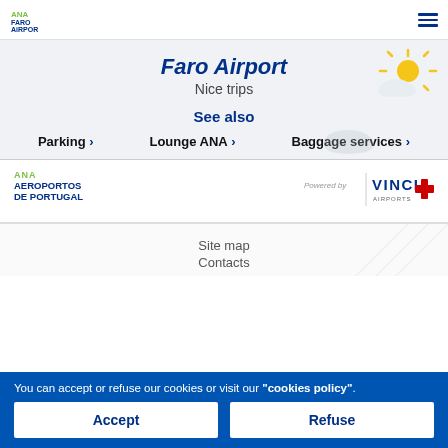[Figure (logo): Faro Airport ANA logo top left, hamburger menu icon top right]
Faro Airport
Nice trips
[Figure (illustration): Sun and cloud weather icon]
See also
Parking >
Lounge ANA >
Baggage services >
[Figure (logo): ANA Aeroportos de Portugal logo]
[Figure (logo): Powered by VINCI Airports logo]
Site map
Contacts
You can accept or refuse our cookies or visit our "cookies policy".
Accept
Refuse